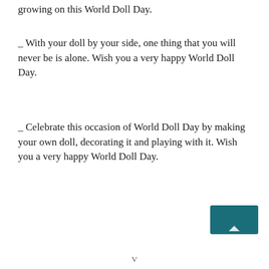growing on this World Doll Day.
_ With your doll by your side, one thing that you will never be is alone. Wish you a very happy World Doll Day.
_ Celebrate this occasion of World Doll Day by making your own doll, decorating it and playing with it. Wish you a very happy World Doll Day.
[Figure (other): Teal/dark cyan navigation button with a small white upward-pointing triangle icon at the bottom center.]
V